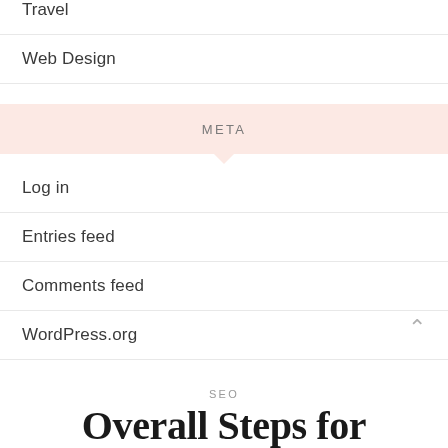Travel
Web Design
META
Log in
Entries feed
Comments feed
WordPress.org
SEO
Overall Steps for